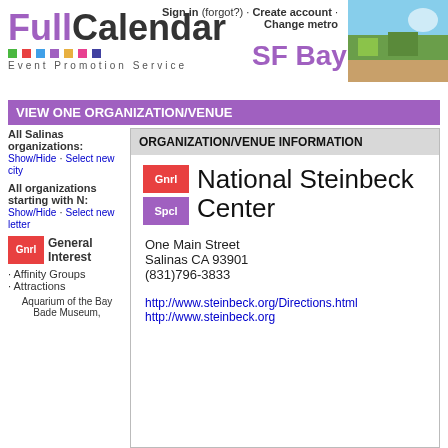FullCalendar Event Promotion Service | Sign in (forgot?) · Create account · Change metro | SF Bay Area
VIEW ONE ORGANIZATION/VENUE
All Salinas organizations:
Show/Hide · Select new city
All organizations starting with N:
Show/Hide · Select new letter
Gnrl General Interest
· Affinity Groups
· Attractions
Aquarium of the Bay
Bade Museum,
ORGANIZATION/VENUE INFORMATION
National Steinbeck Center
One Main Street
Salinas CA 93901
(831)796-3833
http://www.steinbeck.org/Directions.html
http://www.steinbeck.org